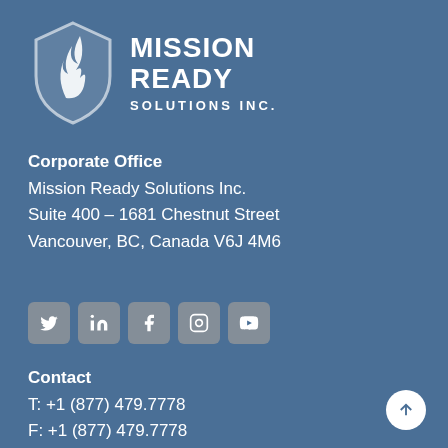[Figure (logo): Mission Ready Solutions Inc. logo — shield/flame icon on the left, company name on the right in white text on steel-blue background]
Corporate Office
Mission Ready Solutions Inc.
Suite 400 – 1681 Chestnut Street
Vancouver, BC, Canada V6J 4M6
[Figure (other): Social media icons row: Twitter, LinkedIn, Facebook, Instagram, YouTube — rounded square buttons with slight tan/gray overlay]
Contact
T: +1 (877) 479.7778
F: +1 (877) 479.7778
E: info@MRSCorp.com